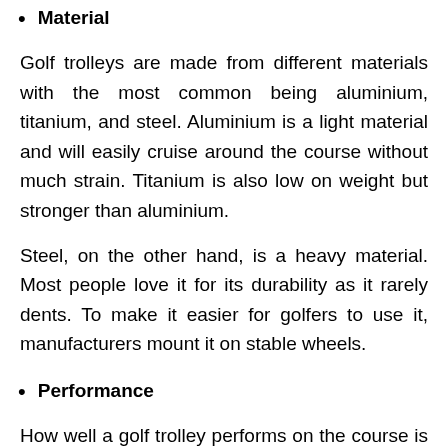Material
Golf trolleys are made from different materials with the most common being aluminium, titanium, and steel. Aluminium is a light material and will easily cruise around the course without much strain. Titanium is also low on weight but stronger than aluminium.
Steel, on the other hand, is a heavy material. Most people love it for its durability as it rarely dents. To make it easier for golfers to use it, manufacturers mount it on stable wheels.
Performance
How well a golf trolley performs on the course is another thing to consider. Golf trolleys come in different capacities and you need to be sure how much weight it can carry. If you play on a hilly course and settle for an electric trolley, inquire